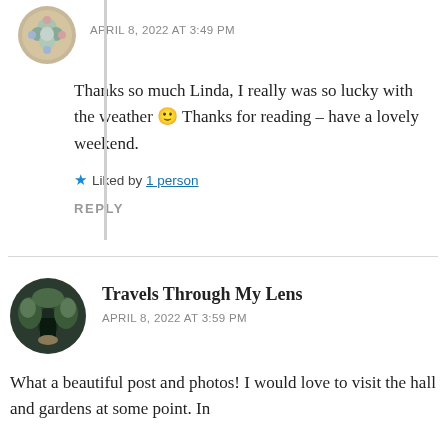APRIL 8, 2022 AT 3:49 PM
Thanks so much Linda, I really was so lucky with the weather 🙂 Thanks for reading – have a lovely weekend.
★ Liked by 1 person
REPLY
Travels Through My Lens
APRIL 8, 2022 AT 3:59 PM
What a beautiful post and photos! I would love to visit the hall and gardens at some point. In